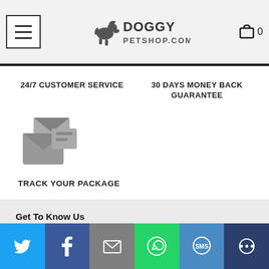Doggy Petshop – navigation header with menu button, logo, and cart
24/7 CUSTOMER SERVICE
30 DAYS MONEY BACK GUARANTEE
[Figure (illustration): Icon of two overlapping envelopes/packages, grey colored, representing package tracking]
TRACK YOUR PACKAGE
Get To Know Us
We are passionate about all things dog related.
[Figure (infographic): Social share bar at bottom with Twitter (blue), Facebook (dark blue), Email (grey), WhatsApp (green), SMS (blue-grey), and another share icon (dark blue)]